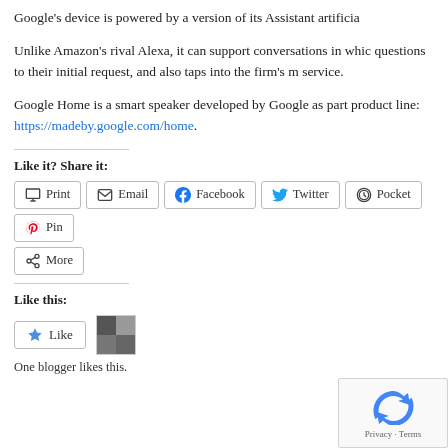Google's device is powered by a version of its Assistant artificia
Unlike Amazon's rival Alexa, it can support conversations in which questions to their initial request, and also taps into the firm's m service.
Google Home is a smart speaker developed by Google as part product line: https://madeby.google.com/home.
Like it? Share it:
Like this:
One blogger likes this.